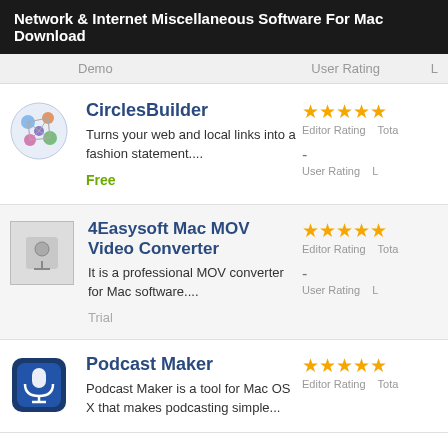Network & Internet Miscellaneous Software For Mac Download
Demo   User Rating   L
CirclesBuilder
Turns your web and local links into a fashion statement....
Free
Editor Rating   Total
-
User Rating   L
4Easysoft Mac MOV Video Converter
It is a professional MOV converter for Mac software....
Trial
Editor Rating   Total
-
User Rating   L
Podcast Maker
Podcast Maker is a tool for Mac OS X that makes podcasting simple...
Editor Rating   Total